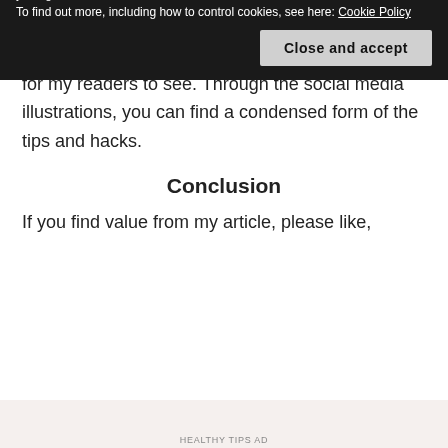that help much in daily life. While I believe in and live by them, I couldn't help but blog about them for my readers to see. Through the social media illustrations, you can find a condensed form of the tips and hacks.
Conclusion
If you find value from my article, please like,
Privacy & Cookies: This site uses cookies. By continuing to use this website, you agree to their use.
To find out more, including how to control cookies, see here: Cookie Policy
Close and accept